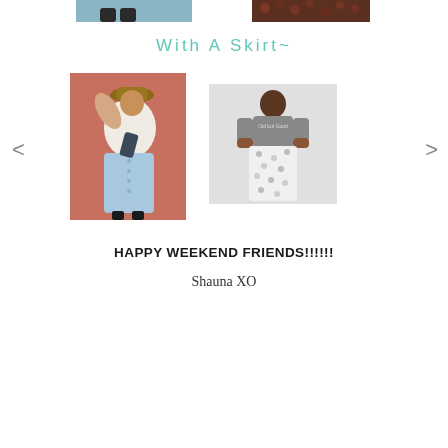[Figure (photo): Partial top view of two fashion photos - left shows teal/blue background outfit, right shows floral dark print outfit]
With A Skirt~
[Figure (photo): Woman wearing white blouse with neck tie, light blue denim button-front midi skirt, and hat, posed against a terracotta/mauve background]
[Figure (photo): Woman in gray t-shirt reading 'Old but Good' and white patterned/printed midi skirt, against light background]
HAPPY WEEKEND FRIENDS!!!!!!
Shauna XO